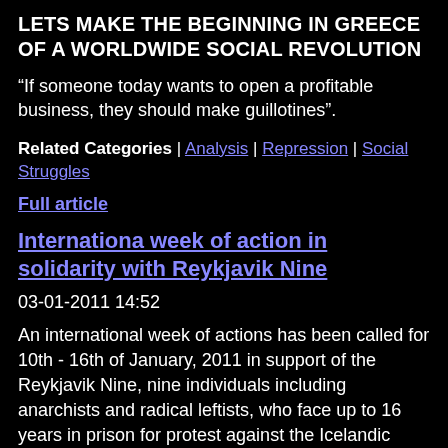LETS MAKE THE BEGINNING IN GREECE OF A WORLDWIDE SOCIAL REVOLUTION
“If someone today wants to open a profitable business, they should make guillotines”.
Related Categories | Analysis | Repression | Social Struggles
Full article
Internationa week of action in solidarity with Reykjavik Nine
03-01-2011 14:52
An international week of actions has been called for 10th - 16th of January, 2011 in support of the Reykjavik Nine, nine individuals including anarchists and radical leftists, who face up to 16 years in prison for protest against the Icelandic parliament.
Related Categories | Other Press | Repression